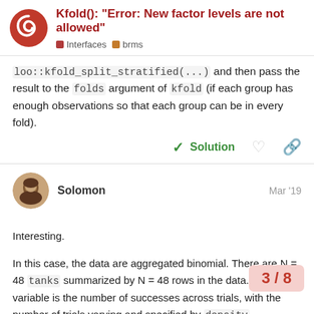Kfold(): "Error: New factor levels are not allowed" — Interfaces · brms
loo::kfold_split_stratified(...) and then pass the result to the folds argument of kfold (if each group has enough observations so that each group can be in every fold).
✓ Solution
Solomon   Mar '19
Interesting.
In this case, the data are aggregated binomial. There are N = 48 tanks summarized by N = 48 rows in the data. The surv variable is the number of successes across trials, with the number of trials varying and specified by density.
If I follow your suggestion, that wouldn't wo... Each fold would have to contain all rows. W... then, that when groups are specified as a...
3 / 8